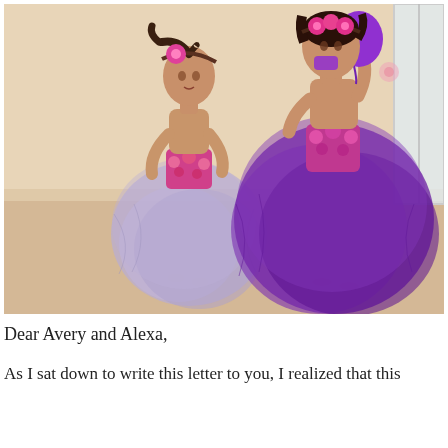[Figure (photo): Two young girls wearing colorful tutu dresses standing against a beige wall. The smaller girl on the left wears a lavender/light purple tutu dress with a hot pink floral bodice and a pink flower headband. The taller girl on the right wears a deep purple tutu dress with a pink floral top and a pink flower crown, and is holding a purple balloon up to her mouth.]
Dear Avery and Alexa,
As I sat down to write this letter to you, I realized that this